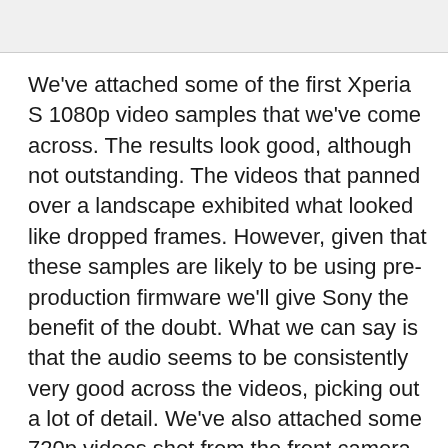[Figure (other): Gray top bar area]
We've attached some of the first Xperia S 1080p video samples that we've come across. The results look good, although not outstanding. The videos that panned over a landscape exhibited what looked like dropped frames. However, given that these samples are likely to be using pre-production firmware we'll give Sony the benefit of the doubt. What we can say is that the audio seems to be consistently very good across the videos, picking out a lot of detail. We've also attached some 720p videos shot from the front camera of the Xperia S. These looked a bit soft to our eyes, see them all for